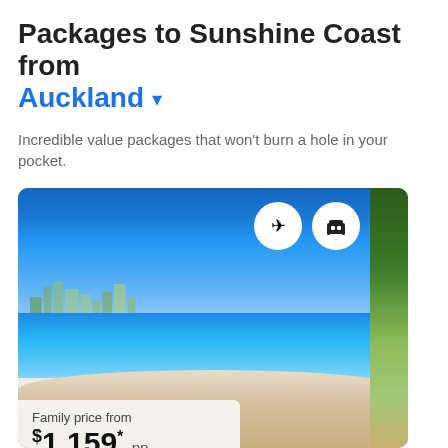Packages to Sunshine Coast from Auckland
Incredible value packages that won't burn a hole in your pocket.
[Figure (photo): Beach scene with blue sky, water, sand, and city skyline in the background. Two circular icon buttons (airplane and hotel bed) shown in top right. Price overlay: Family price from $1,159* pp.]
Air New Zealand logo, 4 out of 5 stars, location pin: Sunshine Coast, Australia
Breakfree Grand Pacific
Please Note: Airfares are based on seat+bag. A $10 one way surcharge applies for outbound travel on Thursday